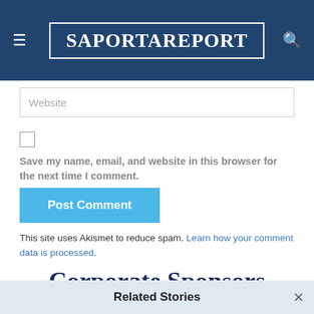SaportaReport
Website
Save my name, email, and website in this browser for the next time I comment.
Post Comment
This site uses Akismet to reduce spam. Learn how your comment data is processed.
Corporate Sponsors
Related Stories
A snapshot of Atlanta's Airbnb listings raises questions about regulation and affordability